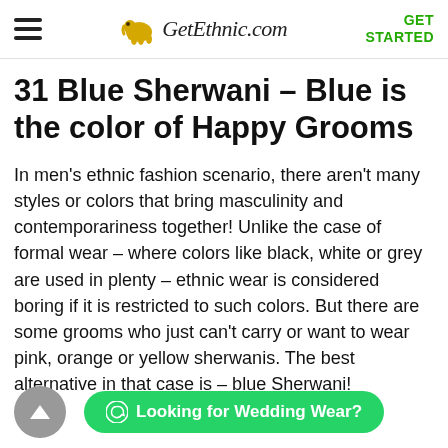GetEthnic.com — GET STARTED
31 Blue Sherwani – Blue is the color of Happy Grooms
In men's ethnic fashion scenario, there aren't many styles or colors that bring masculinity and contemporariness together! Unlike the case of formal wear – where colors like black, white or grey are used in plenty – ethnic wear is considered boring if it is restricted to such colors. But there are some grooms who just can't carry or want to wear pink, orange or yellow sherwanis. The best alternative in that case is – blue Sherwani!
[Figure (other): WhatsApp chat button: Looking for Wedding Wear?]